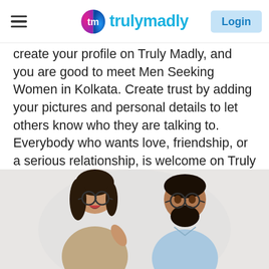trulymadly — Login
create your profile on Truly Madly, and you are good to meet Men Seeking Women in Kolkata. Create trust by adding your pictures and personal details to let others know who they are talking to. Everybody who wants love, friendship, or a serious relationship, is welcome on Truly Madly. We aim at providing a secure platform to talk to anyone in Kolkata. Don't wait anymore and find your forever now.
Sign up for free on trulymadly now and begin your journey to find your true love.
[Figure (photo): Photo of a smiling woman with glasses and a man with glasses and beard looking upward, on a light background]